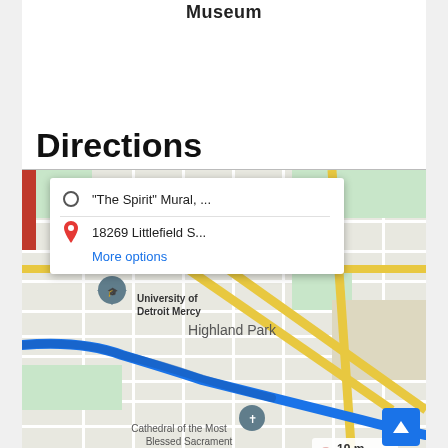Museum
Directions
[Figure (map): Google Maps screenshot showing directions from 'The Spirit' Mural to 18269 Littlefield S... Near University of Detroit Mercy, Highland Park, Cathedral of the Most Blessed Sacrament. Shows blue route line, yellow roads, and a directions popup. Distance shown: 19 m by car.]